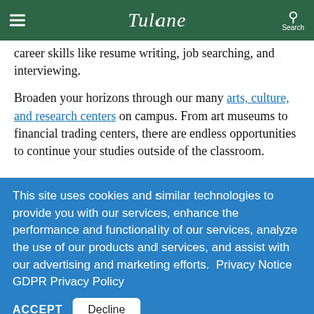Tulane
career skills like resume writing, job searching, and interviewing.
Broaden your horizons through our many arts, culture, and research centers on campus. From art museums to financial trading centers, there are endless opportunities to continue your studies outside of the classroom.
This site uses cookies and similar technologies to provide you with our services, enhance the performance and functionality of our services, analyze the use of our products and services, and assist with our advertising and marketing efforts.  Privacy Notice   GDPR Privacy Policy
ACCEPT   Decline